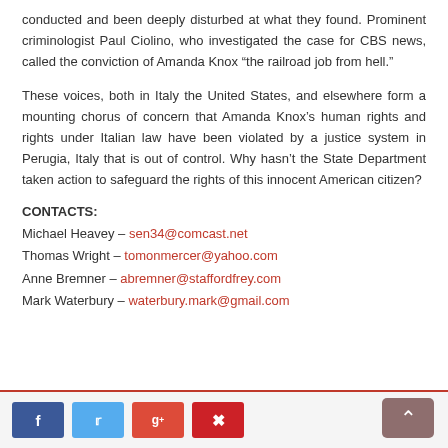conducted and been deeply disturbed at what they found. Prominent criminologist Paul Ciolino, who investigated the case for CBS news, called the conviction of Amanda Knox “the railroad job from hell.”
These voices, both in Italy the United States, and elsewhere form a mounting chorus of concern that Amanda Knox’s human rights and rights under Italian law have been violated by a justice system in Perugia, Italy that is out of control. Why hasn’t the State Department taken action to safeguard the rights of this innocent American citizen?
CONTACTS:
Michael Heavey – sen34@comcast.net
Thomas Wright – tomonmercer@yahoo.com
Anne Bremner – abremner@staffordfrey.com
Mark Waterbury – waterbury.mark@gmail.com
Social share buttons and scroll-to-top button